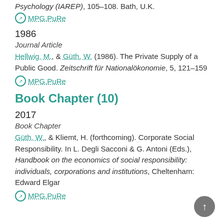Psychology (IAREP), 105–108. Bath, U.K.
⊘ MPG.PuRe
1986
Journal Article
Hellwig, M., & Güth, W. (1986). The Private Supply of a Public Good. Zeitschrift für Nationalökonomie, 5, 121–159
⊘ MPG.PuRe
Book Chapter (10)
2017
Book Chapter
Güth, W., & Kliemt, H. (forthcoming). Corporate Social Responsibility. In L. Degli Sacconi & G. Antoni (Eds.), Handbook on the economics of social responsibility: individuals, corporations and institutions, Cheltenham: Edward Elgar
⊘ MPG.PuRe